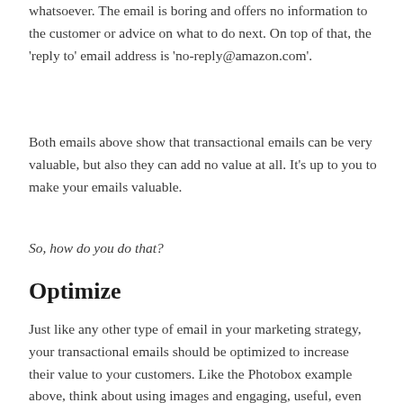whatsoever. The email is boring and offers no information to the customer or advice on what to do next. On top of that, the 'reply to' email address is 'no-reply@amazon.com'.
Both emails above show that transactional emails can be very valuable, but also they can add no value at all. It's up to you to make your emails valuable.
So, how do you do that?
Optimize
Just like any other type of email in your marketing strategy, your transactional emails should be optimized to increase their value to your customers. Like the Photobox example above, think about using images and engaging, useful, even humorous, copy in your transactional emails.